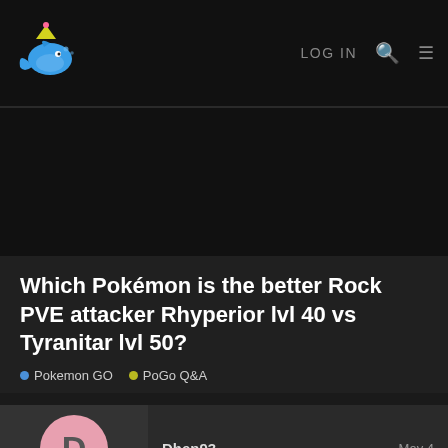LOG IN
Which Pokémon is the better Rock PVE attacker Rhyperior lvl 40 vs Tyranitar lvl 50?
Pokemon GO  PoGo Q&A
Dhen93  May 4
Both Pokémon are 100% IV and have the best possible rock move set. I know Rhyperior is the